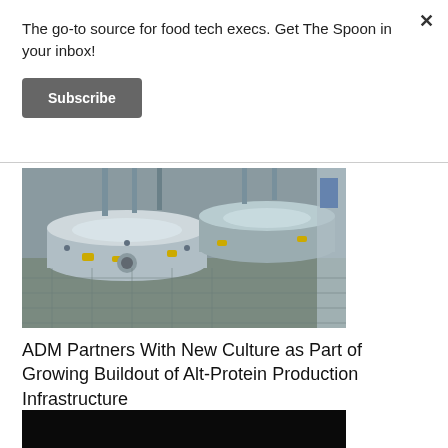The go-to source for food tech execs. Get The Spoon in your inbox!
Subscribe
[Figure (photo): Industrial stainless steel bioreactor vessels in a production facility, viewed from above, showing large metallic dome-shaped fermentation tanks with yellow fittings and pipes.]
ADM Partners With New Culture as Part of Growing Buildout of Alt-Protein Production Infrastructure
[Figure (photo): Dark image with a small warm light source glowing near the bottom center, on a black background.]